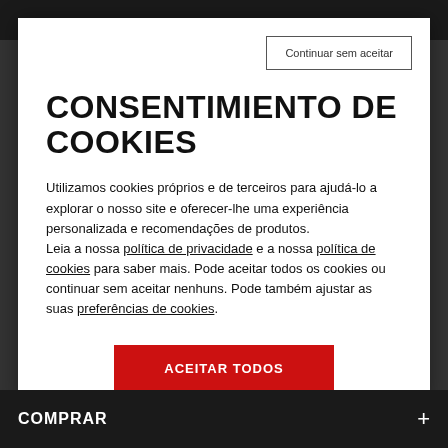[Figure (screenshot): Cookie consent modal overlay on a dark background website. Contains a 'Continuar sem aceitar' button, a large bold title 'CONSENTIMIENTO DE COOKIES', body text about cookie policy with links, and a red 'ACEITAR TODOS' accept button at the bottom.]
CONSENTIMIENTO DE COOKIES
Utilizamos cookies próprios e de terceiros para ajudá-lo a explorar o nosso site e oferecer-lhe uma experiência personalizada e recomendações de produtos.
Leia a nossa política de privacidade e a nossa política de cookies para saber mais. Pode aceitar todos os cookies ou continuar sem aceitar nenhuns. Pode também ajustar as suas preferências de cookies.
ACEITAR TODOS
COMPRAR